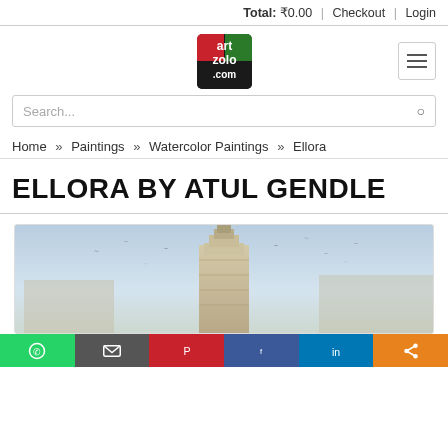Total: ₹0.00 | Checkout | Login
[Figure (logo): Artzolo.com logo — square with red, green, dark background and white text 'art zolo .com']
Search...
Home » Paintings » Watercolor Paintings » Ellora
ELLORA BY ATUL GENDLE
[Figure (photo): Watercolor painting of the Ellora caves / temple structure — a tall carved stone pillar/shikhara against a pale blue sky with birds flying around it; muted sandy/beige tones for the stonework.]
[Figure (other): Social sharing bar with six buttons: WhatsApp (green), Email (grey), Pinterest (red), Facebook (blue), LinkedIn (blue), Share (orange)]